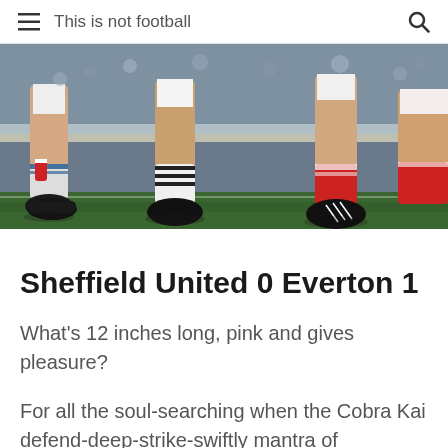This is not football
[Figure (photo): Close-up photo of football players' legs and feet on a pitch, showing boots, socks (white with blue, red), and grass, with stadium crowd in background.]
Sheffield United 0 Everton 1
What's 12 inches long, pink and gives pleasure?
For all the soul-searching when the Cobra Kai defend-deep-strike-swiftly mantra of